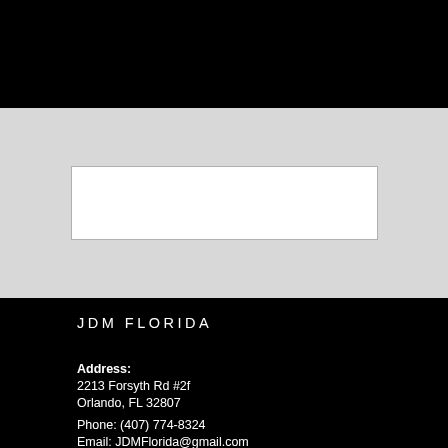[Figure (screenshot): White input box on gray background area]
JDM FLORIDA
Address:
2213 Forsyth Rd #2f
Orlando, FL 32807
Phone: (407) 774-8324
Email: JDMFlorida@gmail.com
My account